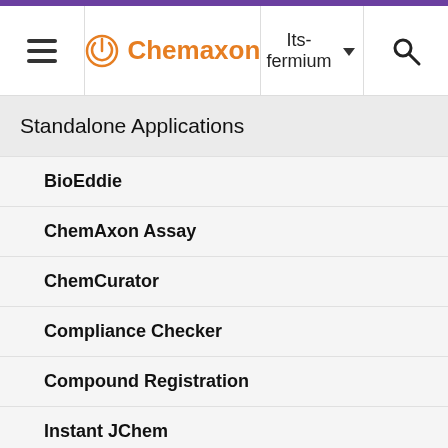Chemaxon — Its-fermium
Standalone Applications
BioEddie
ChemAxon Assay
ChemCurator
Compliance Checker
Compound Registration
Instant JChem
Markush Editor
Design Hub